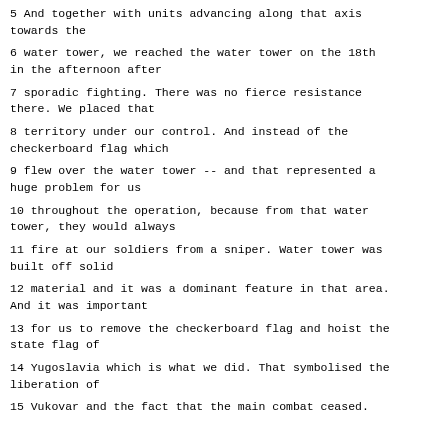5 And together with units advancing along that axis towards the
6 water tower, we reached the water tower on the 18th in the afternoon after
7 sporadic fighting. There was no fierce resistance there. We placed that
8 territory under our control. And instead of the checkerboard flag which
9 flew over the water tower -- and that represented a huge problem for us
10 throughout the operation, because from that water tower, they would always
11 fire at our soldiers from a sniper. Water tower was built off solid
12 material and it was a dominant feature in that area. And it was important
13 for us to remove the checkerboard flag and hoist the state flag of
14 Yugoslavia which is what we did. That symbolised the liberation of
15 Vukovar and the fact that the main combat ceased.